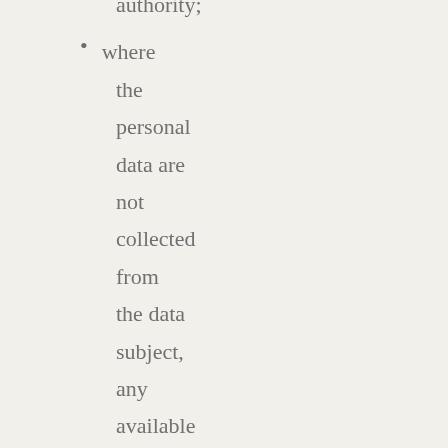authority;
where the personal data are not collected from the data subject, any available information as to their source;
the existence